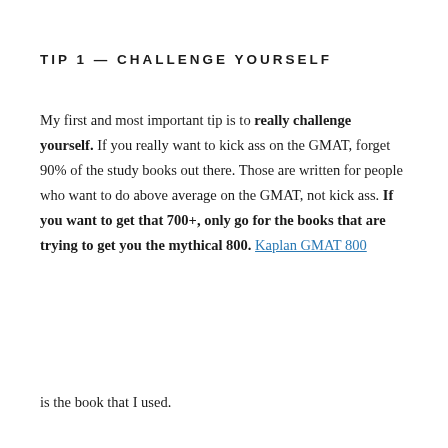TIP 1 — CHALLENGE YOURSELF
My first and most important tip is to really challenge yourself. If you really want to kick ass on the GMAT, forget 90% of the study books out there. Those are written for people who want to do above average on the GMAT, not kick ass. If you want to get that 700+, only go for the books that are trying to get you the mythical 800. Kaplan GMAT 800
is the book that I used.